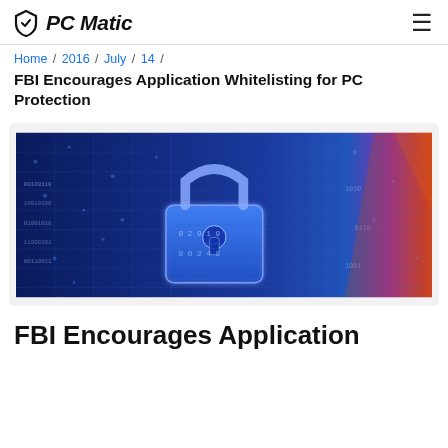PC Matic
Home / 2016 / July / 14 /
FBI Encourages Application Whitelisting for PC Protection
[Figure (photo): Digital cybersecurity concept image featuring a glowing blue padlock overlaid on a circuit board background with binary code and digital patterns. The right side has a warm orange/red light streak contrast.]
FBI Encourages Application